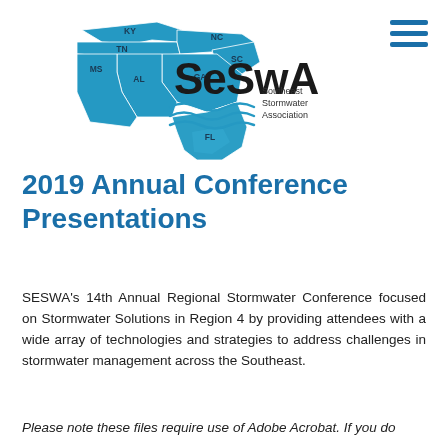[Figure (logo): SeSWA Southeast Stormwater Association logo with a map of southeastern US states (KY, TN, NC, SC, MS, AL, GA, FL) in teal/blue, alongside the SeSWA wordmark and 'Southeast Stormwater Association' text]
2019 Annual Conference Presentations
SESWA's 14th Annual Regional Stormwater Conference focused on Stormwater Solutions in Region 4 by providing attendees with a wide array of technologies and strategies to address challenges in stormwater management across the Southeast.
Please note these files require use of Adobe Acrobat. If you do